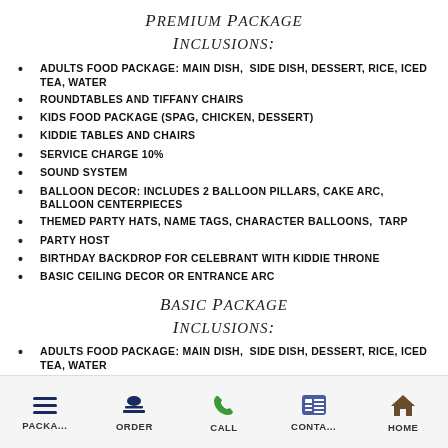Premium Package Inclusions:
ADULTS FOOD PACKAGE: MAIN DISH,  SIDE DISH, DESSERT, RICE, ICED TEA, WATER
ROUNDTABLES AND TIFFANY CHAIRS
KIDS FOOD PACKAGE (SPAG, CHICKEN, DESSERT)
KIDDIE TABLES AND CHAIRS
SERVICE CHARGE 10%
SOUND SYSTEM
BALLOON DECOR: INCLUDES 2 BALLOON PILLARS, CAKE ARC, BALLOON CENTERPIECES
THEMED PARTY HATS, NAME TAGS, CHARACTER BALLOONS,  TARP
PARTY HOST
BIRTHDAY BACKDROP FOR CELEBRANT WITH KIDDIE THRONE
BASIC CEILING DECOR OR ENTRANCE ARC
Basic Package Inclusions:
ADULTS FOOD PACKAGE: MAIN DISH,  SIDE DISH, DESSERT, RICE, ICED TEA, WATER
PACKA... | ORDER | CALL | CONTA... | HOME